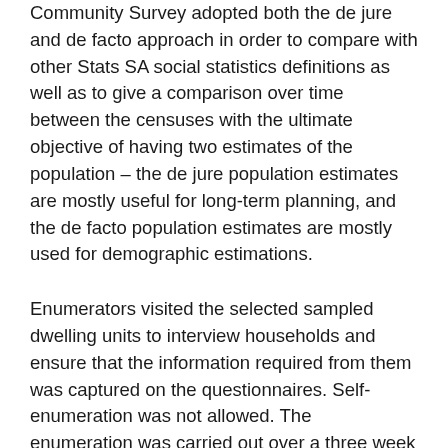Community Survey adopted both the de jure and de facto approach in order to compare with other Stats SA social statistics definitions as well as to give a comparison over time between the censuses with the ultimate objective of having two estimates of the population – the de jure population estimates are mostly useful for long-term planning, and the de facto population estimates are mostly used for demographic estimations.
Enumerators visited the selected sampled dwelling units to interview households and ensure that the information required from them was captured on the questionnaires. Self-enumeration was not allowed. The enumeration was carried out over a three week period with an accompanying follow-up period of